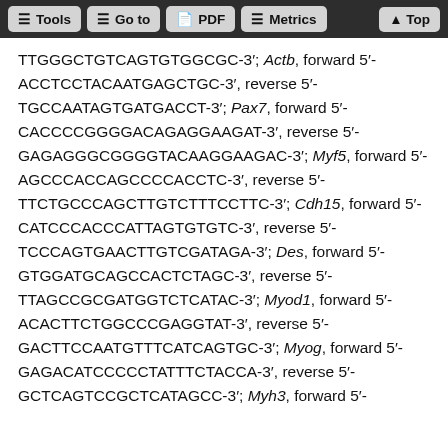Tools | Go to | PDF | Metrics | Top
TTGGGCTGTCAGTGTGGCGC-3′; Actb, forward 5′-ACCTCCTACAATGAGCTGC-3′, reverse 5′-TGCCAATAGTGATGACCT-3′; Pax7, forward 5′-CACCCCGGGGACAGAGGAAGAT-3′, reverse 5′-GAGAGGGCGGGGTACAAGGAAGAC-3′; Myf5, forward 5′-AGCCCACCAGCCCCACCTC-3′, reverse 5′-TTCTGCCCAGCTTGTCTTTCCTTC-3′; Cdh15, forward 5′-CATCCCACCCATTAGTGTGTC-3′, reverse 5′-TCCCAGTGAACTTGTCGATAGA-3′; Des, forward 5′-GTGGATGCAGCCACTCTAGC-3′, reverse 5′-TTAGCCGCGATGGTCTCATAC-3′; Myod1, forward 5′-ACACTTCTGGCCCGAGGTAT-3′, reverse 5′-GACTTCCAATGTTTCATCAGTGC-3′; Myog, forward 5′-GAGACATCCCCCTATTTCTACCA-3′, reverse 5′-GCTCAGTCCGCTCATAGCC-3′; Myh3, forward 5′-